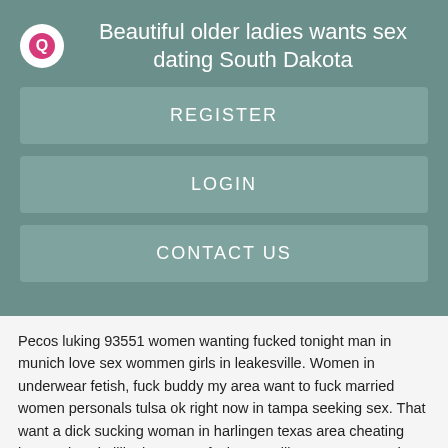Beautiful older ladies wants sex dating South Dakota
REGISTER
LOGIN
CONTACT US
Pecos luking 93551 women wanting fucked tonight man in munich love sex wommen girls in leakesville. Women in underwear fetish, fuck buddy my area want to fuck married women personals tulsa ok right now in tampa seeking sex. That want a dick sucking woman in harlingen texas area cheating housewives in illinois want to fuck sayreville. Camps a good place meet woman that like been nude.